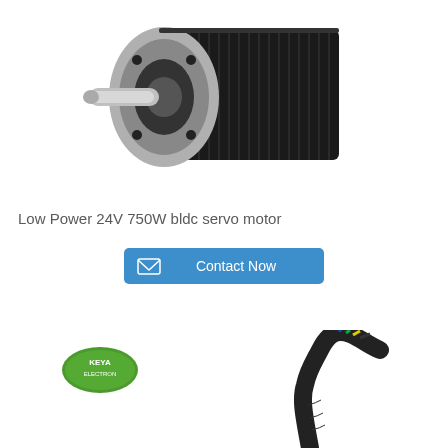[Figure (photo): Black BLDC servo motor with silver shaft and mounting flange, viewed from front-left angle]
Low Power 24V 750W bldc servo motor
[Figure (other): Contact Now button with envelope icon, blue background]
[Figure (logo): KEYA ELECTRON green oval logo]
[Figure (photo): Multi-colored wiring harness/cable bundle with black, blue, green, yellow wires]